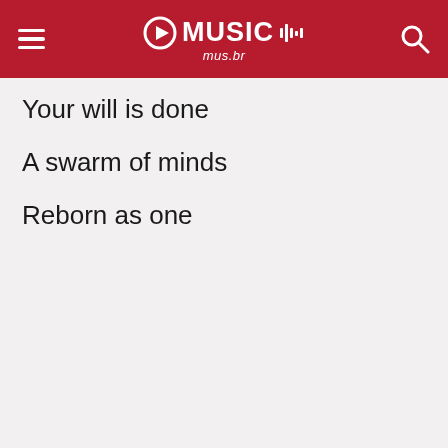GO MUSIC mus.br
Your will is done
A swarm of minds
Reborn as one